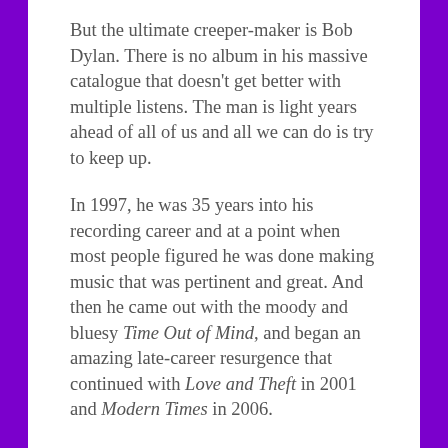But the ultimate creeper-maker is Bob Dylan. There is no album in his massive catalogue that doesn't get better with multiple listens. The man is light years ahead of all of us and all we can do is try to keep up.
In 1997, he was 35 years into his recording career and at a point when most people figured he was done making music that was pertinent and great. And then he came out with the moody and bluesy Time Out of Mind, and began an amazing late-career resurgence that continued with Love and Theft in 2001 and Modern Times in 2006.
The weary, old-man voice that has characterized his later catalog, beginning with Time Out of